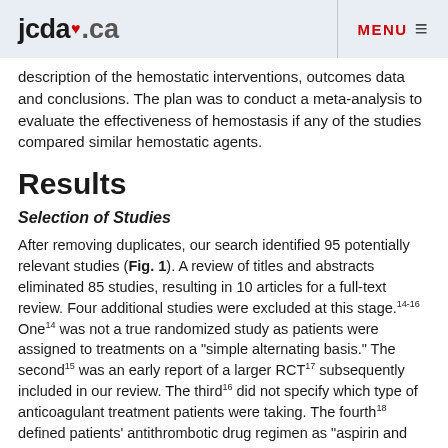jcda.ca  MENU
description of the hemostatic interventions, outcomes data and conclusions. The plan was to conduct a meta-analysis to evaluate the effectiveness of hemostasis if any of the studies compared similar hemostatic agents.
Results
Selection of Studies
After removing duplicates, our search identified 95 potentially relevant studies (Fig. 1). A review of titles and abstracts eliminated 85 studies, resulting in 10 articles for a full-text review. Four additional studies were excluded at this stage.14-16 One14 was not a true randomized study as patients were assigned to treatments on a "simple alternating basis." The second15 was an early report of a larger RCT17 subsequently included in our review. The third16 did not specify which type of anticoagulant treatment patients were taking. The fourth18 defined patients' antithrombotic drug regimen as "aspirin and coumarin" without clear specification of what proportion of